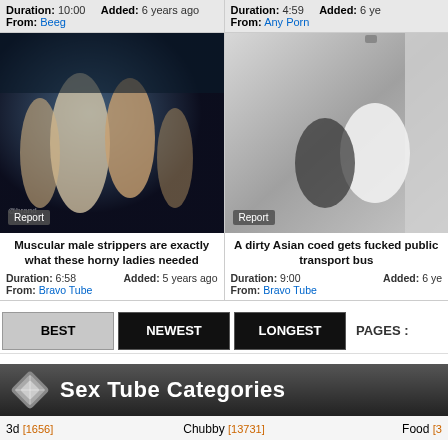Duration: 10:00  Added: 6 years ago  From: Beeg
Duration: 4:59  Added: 6 ye  From: Any Porn
[Figure (photo): Party scene with people]
[Figure (photo): Two people in a corridor/transport setting]
Muscular male strippers are exactly what these horny ladies needed
Duration: 6:58  Added: 5 years ago  From: Bravo Tube
A dirty Asian coed gets fucked public transport bus
Duration: 9:00  Added: 6 ye  From: Bravo Tube
BEST  NEWEST  LONGEST  PAGES :
Sex Tube Categories
3d [1656]  Chubby [13731]  Food [3...]